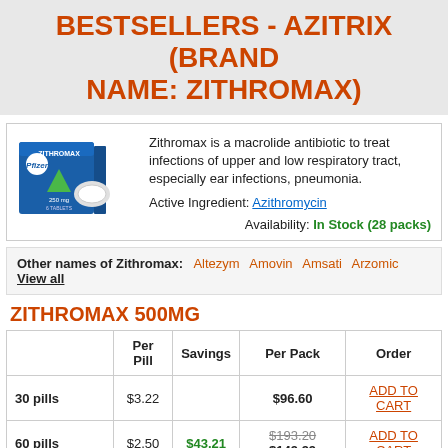BESTSELLERS - AZITRIX (BRAND NAME: ZITHROMAX)
Zithromax is a macrolide antibiotic to treat infections of upper and low respiratory tract, especially ear infections, pneumonia.
Active Ingredient: Azithromycin
Availability: In Stock (28 packs)
Other names of Zithromax: Altezym Amovin Amsati Arzomic View all
ZITHROMAX 500MG
|  | Per Pill | Savings | Per Pack | Order |
| --- | --- | --- | --- | --- |
| 30 pills | $3.22 |  | $96.60 | ADD TO CART |
| 60 pills | $2.50 | $43.21 | $193.20 $149.99 | ADD TO CART |